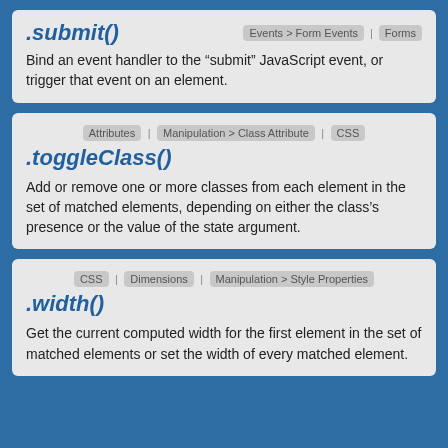.submit()
Events > Form Events  |  Forms
Bind an event handler to the “submit” JavaScript event, or trigger that event on an element.
Attributes  |  Manipulation > Class Attribute  |  CSS
.toggleClass()
Add or remove one or more classes from each element in the set of matched elements, depending on either the class’s presence or the value of the state argument.
CSS  |  Dimensions  |  Manipulation > Style Properties
.width()
Get the current computed width for the first element in the set of matched elements or set the width of every matched element.